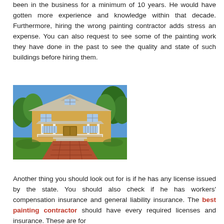been in the business for a minimum of 10 years. He would have gotten more experience and knowledge within that decade. Furthermore, hiring the wrong painting contractor adds stress an expense. You can also request to see some of the painting work they have done in the past to see the quality and state of such buildings before hiring them.
[Figure (photo): A yellow two-story craftsman-style house with white trim and a covered front porch, surrounded by green trees and a brick pathway.]
Another thing you should look out for is if he has any license issued by the state. You should also check if he has workers' compensation insurance and general liability insurance. The best painting contractor should have every required licenses and insurance. These are for